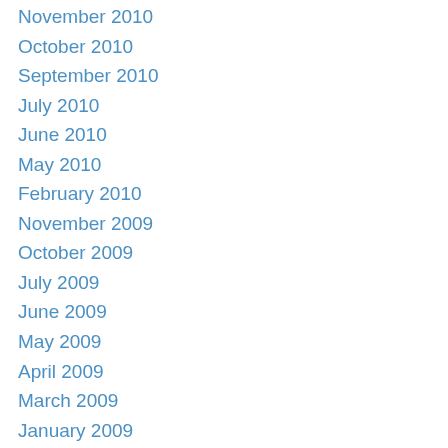November 2010
October 2010
September 2010
July 2010
June 2010
May 2010
February 2010
November 2009
October 2009
July 2009
June 2009
May 2009
April 2009
March 2009
January 2009
December 2008
November 2008
October 2008
September 2008
August 2008